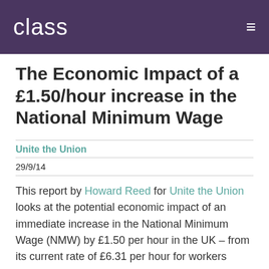class
The Economic Impact of a £1.50/hour increase in the National Minimum Wage
Unite the Union
29/9/14
This report by Howard Reed for Unite the Union looks at the potential economic impact of an immediate increase in the National Minimum Wage (NMW) by £1.50 per hour in the UK – from its current rate of £6.31 per hour for workers aged 21 and over to £7.81 per hour, with an equivalent cash increase for younger workers.